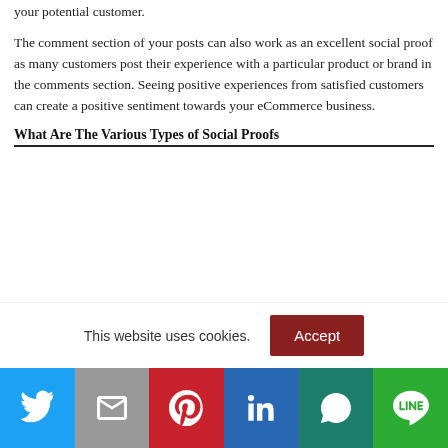your potential customer.
The comment section of your posts can also work as an excellent social proof as many customers post their experience with a particular product or brand in the comments section. Seeing positive experiences from satisfied customers can create a positive sentiment towards your eCommerce business.
What Are The Various Types of Social Proofs
This website uses cookies.
[Figure (other): Cookie accept button (brown/dark red background, white text 'Accept')]
[Figure (other): Social share bar with Twitter, Gmail, Pinterest, LinkedIn, WhatsApp, LINE icons]